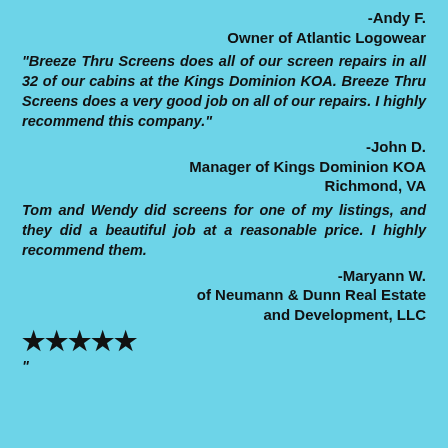-Andy F.
Owner of Atlantic Logowear
"Breeze Thru Screens does all of our screen repairs in all 32 of our cabins at the Kings Dominion KOA. Breeze Thru Screens does a very good job on all of our repairs. I highly recommend this company."
-John D.
Manager of Kings Dominion KOA
Richmond, VA
Tom and Wendy did screens for one of my listings, and they did a beautiful job at a reasonable price. I highly recommend them.
-Maryann W.
of Neumann & Dunn Real Estate
and Development, LLC
★★★★★
"